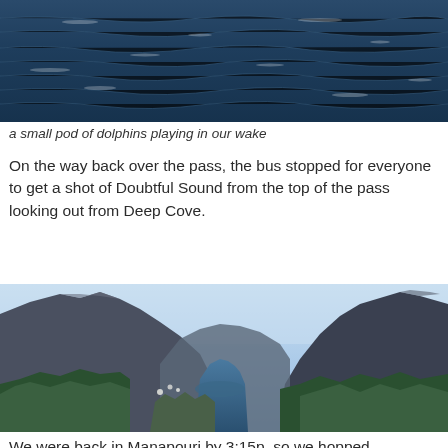[Figure (photo): Ocean water surface with small waves, choppy sea scene, cropped at top of page]
a small pod of dolphins playing in our wake
On the way back over the pass, the bus stopped for everyone to get a shot of Doubtful Sound from the top of the pass looking out from Deep Cove.
[Figure (photo): Scenic mountain valley view with deep blue fjord/sound winding between steep forested mountains, blue sky, Deep Cove / Doubtful Sound area, New Zealand]
We were back in Manapouri by 3:15p, so we hopped